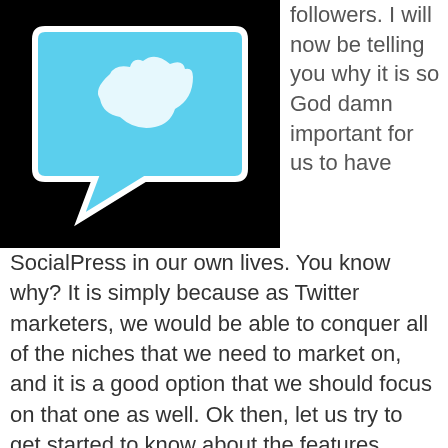[Figure (illustration): Twitter/social media logo icon — a light blue speech bubble or bird-like icon on a black background]
followers. I will now be telling you why it is so God damn important for us to have SocialPress in our own lives. You know why? It is simply because as Twitter marketers, we would be able to conquer all of the niches that we need to market on, and it is a good option that we should focus on that one as well. Ok then, let us try to get started to know about the features which make SocialPress very important to all of us.
In order for us to get started, we need to know more about the features of the awesome SocialPress WordPress plugin. The first feature is that they have unique social buttons that are very attractive to your readers and other visitors on the planet. In other words, it is time for you to say goodbye to those default and boring Facebook, Twitter